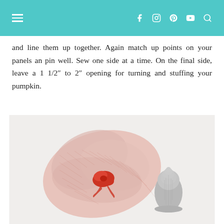[Navigation menu icon] [Facebook] [Instagram] [Pinterest] [YouTube] [Search]
and line them up together. Again match up points on your panels an pin well. Sew one side at a time. On the final side, leave a 1 1/2″ to 2″ opening for turning and stuffing your pumpkin.
[Figure (photo): Photo showing two sewn fabric pieces on a white background. On the left is a large pink/red patterned fabric gathered and tied with red ribbon in the center. On the right is a small grey fabric stem piece shaped like a rounded cone.]